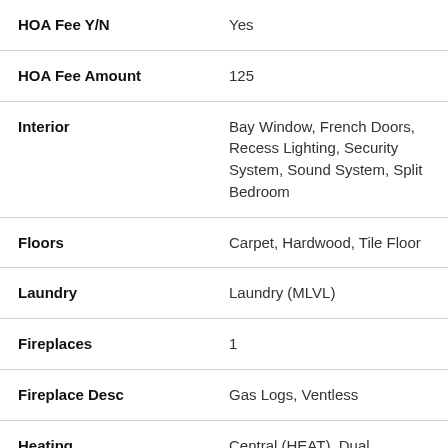| Field | Value |
| --- | --- |
| HOA Fee Y/N | Yes |
| HOA Fee Amount | 125 |
| Interior | Bay Window, French Doors, Recess Lighting, Security System, Sound System, Split Bedroom |
| Floors | Carpet, Hardwood, Tile Floor |
| Laundry | Laundry (MLVL) |
| Fireplaces | 1 |
| Fireplace Desc | Gas Logs, Ventless |
| Heating | Central (HEAT), Dual Systems (HEAT), Electric (HEAT) |